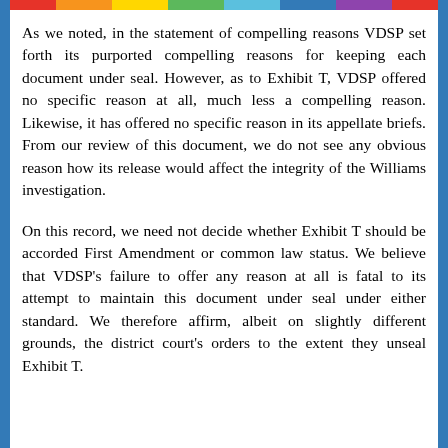As we noted, in the statement of compelling reasons VDSP set forth its purported compelling reasons for keeping each document under seal. However, as to Exhibit T, VDSP offered no specific reason at all, much less a compelling reason. Likewise, it has offered no specific reason in its appellate briefs. From our review of this document, we do not see any obvious reason how its release would affect the integrity of the Williams investigation.
On this record, we need not decide whether Exhibit T should be accorded First Amendment or common law status. We believe that VDSP's failure to offer any reason at all is fatal to its attempt to maintain this document under seal under either standard. We therefore affirm, albeit on slightly different grounds, the district court's orders to the extent they unseal Exhibit T.